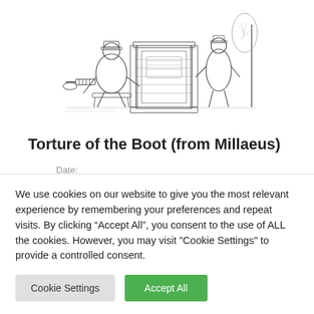[Figure (illustration): A black and white engraving showing a historical torture scene with the boot device, figures seated and standing around a mechanical apparatus, furniture and wooden structures visible]
Torture of the Boot (from Millaeus)
Date:
Author: Michael Goodman
Category: Act I, Charles Knight, Comedy, Interior, The Two Gentlemen of...
We use cookies on our website to give you the most relevant experience by remembering your preferences and repeat visits. By clicking “Accept All”, you consent to the use of ALL the cookies. However, you may visit "Cookie Settings" to provide a controlled consent.
Cookie Settings
Accept All